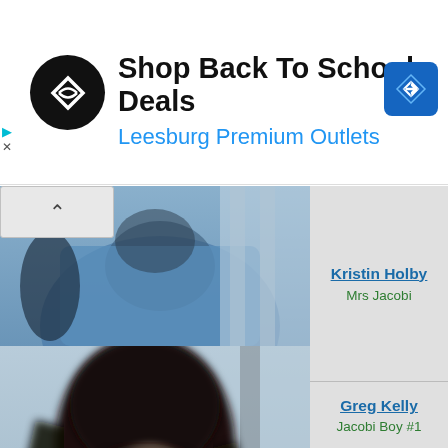[Figure (screenshot): Advertisement banner for Leesburg Premium Outlets with logo and navigation icon]
Shop Back To School Deals
Leesburg Premium Outlets
[Figure (photo): Blurry photo of a person in a blue shirt at top]
[Figure (photo): Main blurry photo of a woman with long dark hair, looking down]
Kristin Holby
Mrs Jacobi
Greg Kelly
Jacobi Boy #1